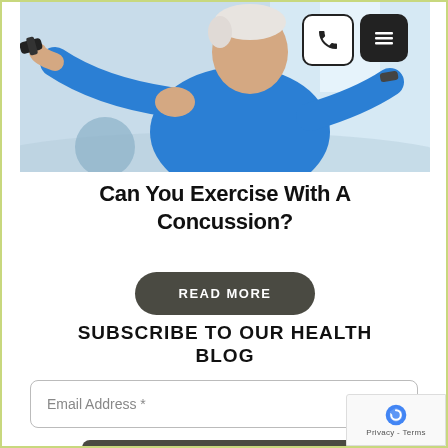[Figure (photo): Elderly man in blue shirt exercising with dumbbells in a gym setting]
Can You Exercise With A Concussion?
READ MORE
SUBSCRIBE TO OUR HEALTH BLOG
Email Address *
SIGN ME UP NOW!